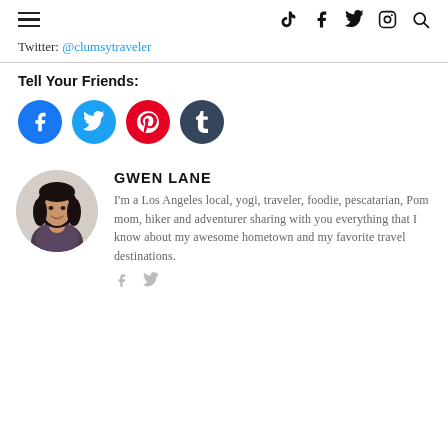Navigation and social icons header
Twitter: @clumsytraveler
Tell Your Friends:
[Figure (infographic): Social share buttons: Facebook (blue), Twitter (light blue), Pinterest (red), Tumblr (dark blue-grey), each as circular icon buttons]
[Figure (photo): Circular author photo of Gwen Lane, a woman with long dark hair, smiling]
GWEN LANE
I'm a Los Angeles local, yogi, traveler, foodie, pescatarian, Pom mom, hiker and adventurer sharing with you everything that I know about my awesome hometown and my favorite travel destinations.
[Figure (infographic): Author social icons: Facebook and Twitter in grey]